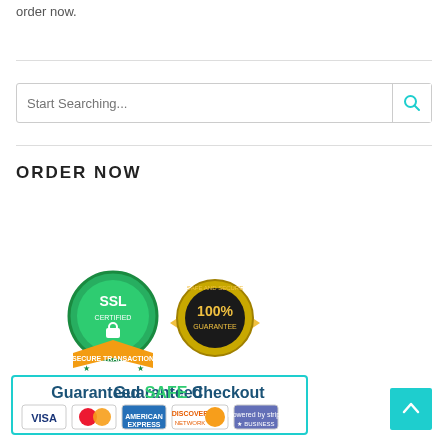order now.
[Figure (screenshot): Search box with placeholder text 'Start Searching...' and a teal search icon on the right]
ORDER NOW
[Figure (infographic): Guaranteed SAFE Checkout badge with SSL Certified and 100% Guarantee seals, and payment method logos: VISA, MasterCard, American Express, Discover, Stripe]
[Figure (other): Teal back-to-top button with upward arrow]